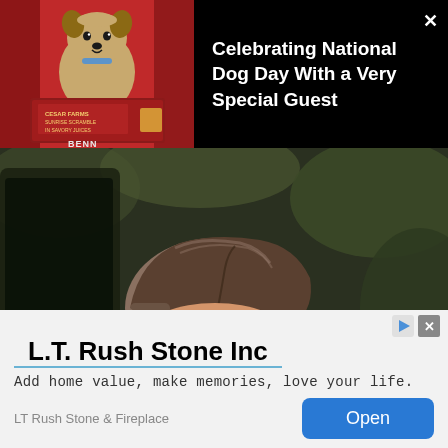[Figure (photo): Small dog (Yorkshire Terrier) on a red background with product packaging in the lower portion, labeled BENN]
Celebrating National Dog Day With a Very Special Guest
[Figure (photo): Close-up of a man with a slicked-back undercut hairstyle, looking down, wearing a backpack]
[Figure (other): Advertisement for L.T. Rush Stone Inc with tagline: Add home value, make memories, love your life. LT Rush Stone & Fireplace with an Open button.]